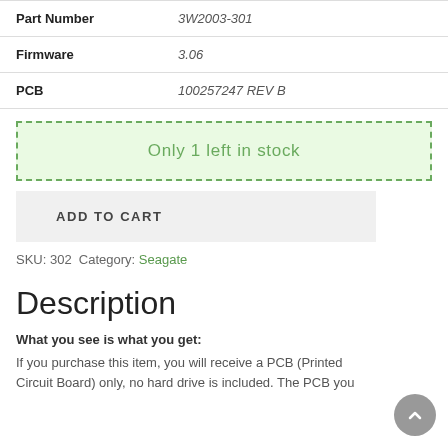| Field | Value |
| --- | --- |
| Part Number | 3W2003-301 |
| Firmware | 3.06 |
| PCB | 100257247 REV B |
Only 1 left in stock
ADD TO CART
SKU: 302 Category: Seagate
Description
What you see is what you get:
If you purchase this item, you will receive a PCB (Printed Circuit Board) only, no hard drive is included. The PCB you